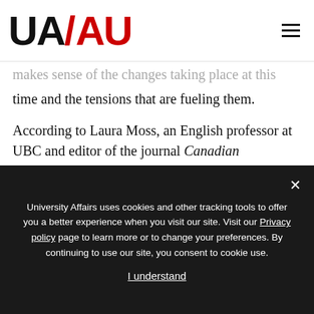[Figure (logo): UA/AU University Affairs logo in black and red]
makes sense of the changes taking place at this time and the tensions that are fueling them.
According to Laura Moss, an English professor at UBC and editor of the journal Canadian Literature, to understand the future of CanLit we must first define our terms. In her essay for Refuse, “On Not Refusing CanLit,” she carefully differentiates between two meanings of CanLit: one refers to the industry of Canadian writing and publishing, and
University Affairs uses cookies and other tracking tools to offer you a better experience when you visit our site. Visit our Privacy policy page to learn more or to change your preferences. By continuing to use our site, you consent to cookie use.
I understand